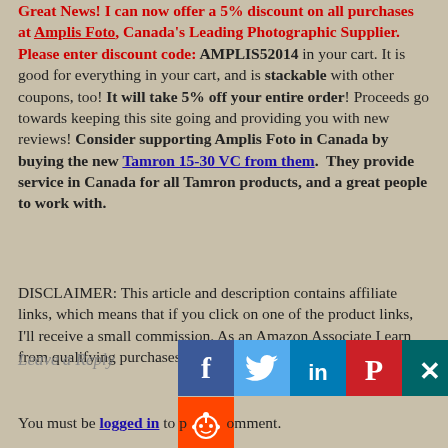Great News! I can now offer a 5% discount on all purchases at Amplis Foto, Canada's Leading Photographic Supplier. Please enter discount code: AMPLIS52014 in your cart. It is good for everything in your cart, and is stackable with other coupons, too! It will take 5% off your entire order! Proceeds go towards keeping this site going and providing you with new reviews! Consider supporting Amplis Foto in Canada by buying the new Tamron 15-30 VC from them. They provide service in Canada for all Tamron products, and a great people to work with.
DISCLAIMER: This article and description contains affiliate links, which means that if you click on one of the product links, I'll receive a small commission. As an Amazon Associate I earn from qualifying purchases.
Leave a Reply
[Figure (infographic): Social media share buttons: Facebook (blue), Twitter (light blue), LinkedIn (dark blue), Pinterest (red), Xing (teal), Reddit (orange-red)]
You must be logged in to post a comment.